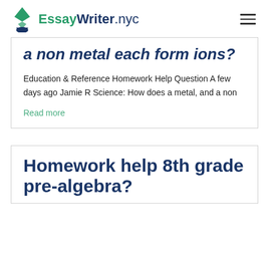EssayWriter.nyc
a non metal each form ions?
Education & Reference Homework Help Question A few days ago Jamie R Science: How does a metal, and a non
Read more
Homework help 8th grade pre-algebra?